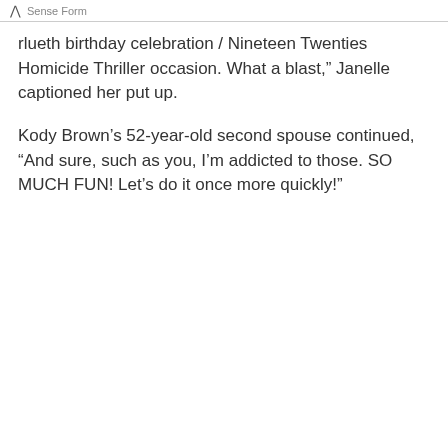Sense Form
rlueth birthday celebration / Nineteen Twenties Homicide Thriller occasion. What a blast,” Janelle captioned her put up.
Kody Brown’s 52-year-old second spouse continued, “And sure, such as you, I’m addicted to those. SO MUCH FUN! Let’s do it once more quickly!”